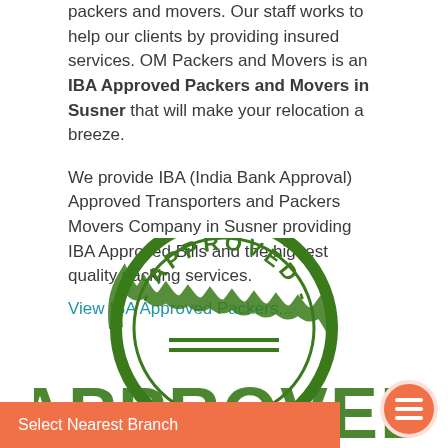packers and movers. Our staff works to help our clients by providing insured services. OM Packers and Movers is an IBA Approved Packers and Movers in Susner that will make your relocation a breeze.
We provide IBA (India Bank Approval) Approved Transporters and Packers Movers Company in Susner providing IBA Approved Bills and the highest quality packing services.
View IBA Approved Packers...
[Figure (illustration): Green circular 'APPROVED' stamp image with scalloped border and large APPROVED text, partially cropped at bottom of page]
Select Nearest Branch